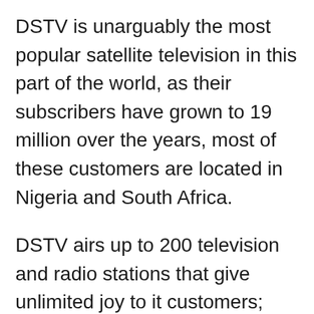DSTV is unarguably the most popular satellite television in this part of the world, as their subscribers have grown to 19 million over the years, most of these customers are located in Nigeria and South Africa.
DSTV airs up to 200 television and radio stations that give unlimited joy to it customers; Since the satellite TV has succeeded in finding their ways into the homes of many Nigerians, the company has been saddled with the responsibility of bringing the best of entertaining programs